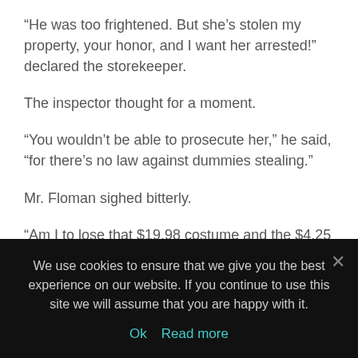“He was too frightened. But she’s stolen my property, your honor, and I want her arrested!” declared the storekeeper.
The inspector thought for a moment.
“You wouldn’t be able to prosecute her,” he said, “for there’s no law against dummies stealing.”
Mr. Floman sighed bitterly.
“Am I to lose that $19.98 costume and the $4.25 hat and—”
“By no means,” interrupted Inspector Mugg. “The police of this city are ever prompt to act in defense of our worthy citizens. We have already arrested the wax lady, and she is locked up in cell No. 16. You may see the…
We use cookies to ensure that we give you the best experience on our website. If you continue to use this site we will assume that you are happy with it.